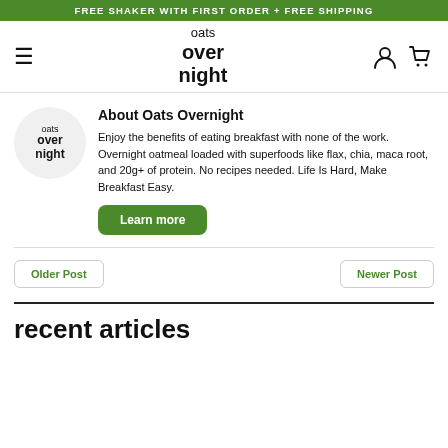FREE SHAKER WITH FIRST ORDER + FREE SHIPPING
[Figure (logo): Oats Overnight logo in navigation bar with hamburger menu, user icon, and cart icon]
[Figure (logo): Oats Overnight circular logo in about section]
About Oats Overnight
Enjoy the benefits of eating breakfast with none of the work. Overnight oatmeal loaded with superfoods like flax, chia, maca root, and 20g+ of protein. No recipes needed. Life Is Hard, Make Breakfast Easy.
Learn more
Older Post
Newer Post
recent articles